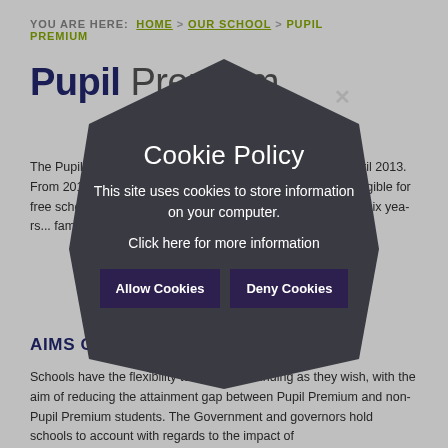YOU ARE HERE: HOME > OUR SCHOOL > PUPIL PREMIUM
Pupil Premium
The Pupil Premium was introduced by the government in April 2013. From 2014, the funding needs to support... pupils who are eligible for free school meals if you or have been at any point in the last six years... families... the umbrella...
AIMS OF THE FUNDING
Schools have the flexibility to spend the funding as they wish, with the aim of reducing the attainment gap between Pupil Premium and non-Pupil Premium students. The Government and governors hold schools to account with regards to the impact of the spending on closing the attainment gap.
[Figure (screenshot): Cookie policy popup overlay with hexagonal dark background shape containing title 'Cookie Policy', body text 'This site uses cookies to store information on your computer.', a 'Click here for more information' link, and two buttons: 'Allow Cookies' and 'Deny Cookies'. A close (x) button is shown at the top right of the shape.]